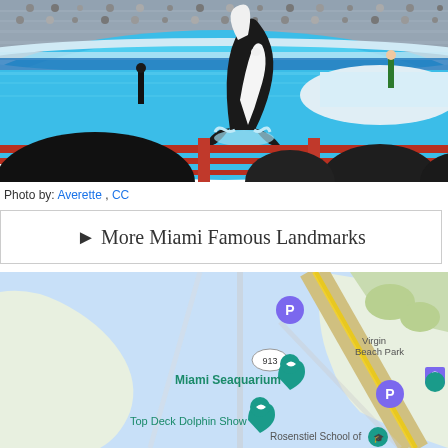[Figure (photo): Photo of Miami Seaquarium showing an orca whale jumping in a pool during a show, with stadium bleachers in the background filled with spectators, red fence/barrier in the foreground, and dark silhouettes of audience members at the bottom]
Photo by: Averette , CC
► More Miami Famous Landmarks
[Figure (map): Google Maps screenshot showing Miami Seaquarium location, with map pins for Miami Seaquarium, Top Deck Dolphin Show, Parking (P), Virginia Beach Park, Rosenstiel School of, and road 913 visible with yellow road markings]